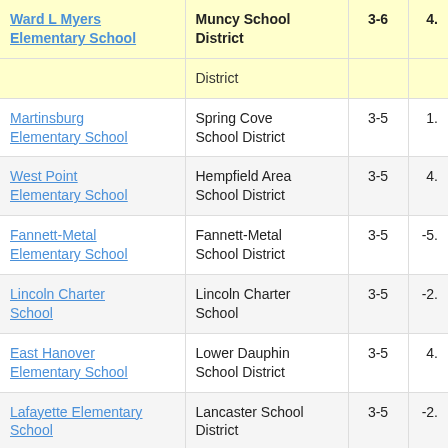| School | District | Grades | Value |
| --- | --- | --- | --- |
| Ward L Myers Elementary School | Muncy School District | 3-6 | 4. |
|  | District |  |  |
| Martinsburg Elementary School | Spring Cove School District | 3-5 | 1. |
| West Point Elementary School | Hempfield Area School District | 3-5 | 4. |
| Fannett-Metal Elementary School | Fannett-Metal School District | 3-5 | -5. |
| Lincoln Charter School | Lincoln Charter School | 3-5 | -2. |
| East Hanover Elementary School | Lower Dauphin School District | 3-5 | 4. |
| Lafayette Elementary School | Lancaster School District | 3-5 | -2. |
| East Fallowfield Elementary School | Coatesville Area School District | 3-5 | 3. |